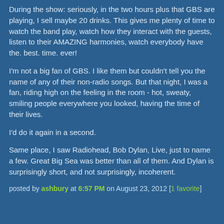During the show: seriously, in the two hours plus that GBS are playing, I sell maybe 20 drinks. This gives me plenty of time to watch the band play, watch how they interact with the guests, listen to their AMAZING harmonies, watch everybody have the. best. time. ever!
I'm not a big fan of GBS. I like them but couldn't tell you the name of any of their non-radio songs. But that night, I was a fan, riding high on the feeling in the room - hot, sweaty, smiling people everywhere you looked, having the time of their lives.
I'd do it again in a second.
Same place, I saw Radiohead, Bob Dylan, Live, just to name a few. Great Big Sea was better than all of them. And Dylan is surprisingly short, and not surprisingly, incoherent.
posted by ashbury at 6:57 PM on August 23, 2012 [1 favorite]